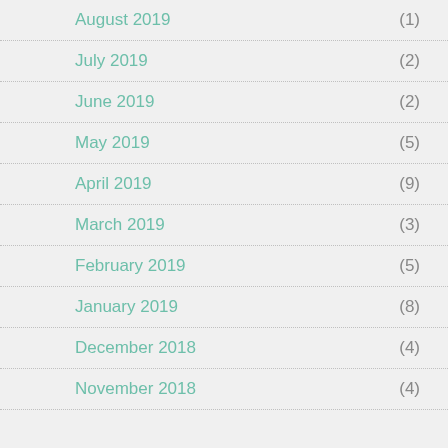August 2019 (1)
July 2019 (2)
June 2019 (2)
May 2019 (5)
April 2019 (9)
March 2019 (3)
February 2019 (5)
January 2019 (8)
December 2018 (4)
November 2018 (4)